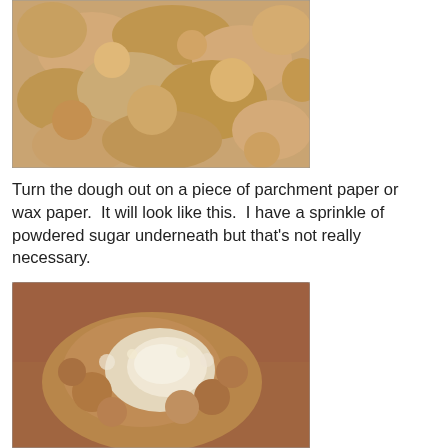[Figure (photo): Close-up photo of crumbly dough mixture in a bowl, tan/golden brown color with rough chunky texture]
Turn the dough out on a piece of parchment paper or wax paper.  It will look like this.  I have a sprinkle of powdered sugar underneath but that’s not really necessary.
[Figure (photo): Close-up photo of crumbly dough turned out onto a surface with powdered sugar sprinkled on top, showing rough lumpy texture on a reddish-brown background]